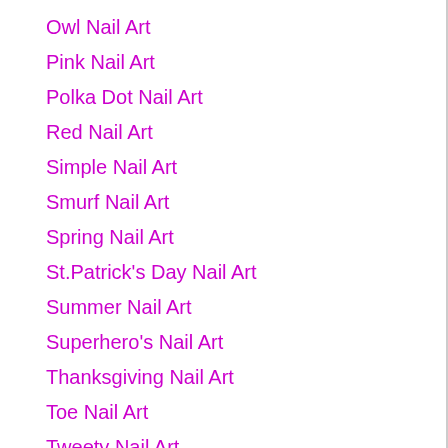Owl Nail Art
Pink Nail Art
Polka Dot Nail Art
Red Nail Art
Simple Nail Art
Smurf Nail Art
Spring Nail Art
St.Patrick's Day Nail Art
Summer Nail Art
Superhero's Nail Art
Thanksgiving Nail Art
Toe Nail Art
Tweety Nail Art
Uncategorized
Valentine's Day Nail Art
Video Games Nail Art
Wedding Nail Art
Winter Nail Art
Yellow Nail Art